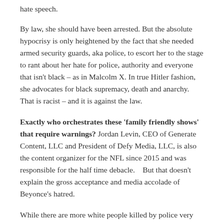hate speech.
By law, she should have been arrested. But the absolute hypocrisy is only heightened by the fact that she needed armed security guards, aka police, to escort her to the stage to rant about her hate for police, authority and everyone that isn't black – as in Malcolm X. In true Hitler fashion, she advocates for black supremacy, death and anarchy. That is racist – and it is against the law.
Exactly who orchestrates these ‘family friendly shows’ that require warnings? Jordan Levin, CEO of Generate Content, LLC and President of Defy Media, LLC, is also the content organizer for the NFL since 2015 and was responsible for the half time debacle.   But that doesn't explain the gross acceptance and media accolade of Beyonce’s hatred.
While there are more white people killed by police very year, the statistics are not equal. Given the disparity in percentages, blacks are more likely to be killed... yes, but they are also more likely to be the killer, the aggressor